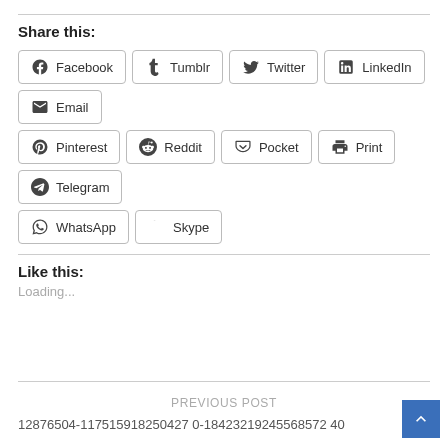Share this:
Facebook  Tumblr  Twitter  LinkedIn  Email  Pinterest  Reddit  Pocket  Print  Telegram  WhatsApp  Skype
Like this:
Loading...
PREVIOUS POST
12876504-117515918250427...